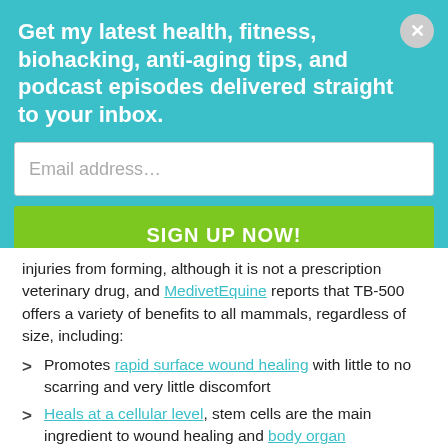Get my latest health, fitness, biohacking, anti-aging tips, and podcast episodes delivered straight to your inbox.
injuries from forming, although it is not a prescription veterinary drug, and MedivetEquine reports that TB-500 offers a variety of benefits to all mammals, regardless of size, including:
Promotes rapid surface wound healing with little to no scarring and very little discomfort
Heals at a cellular level, stem cells are the main ingredient to wound healing and body organ regeneration
Assists with regeneration of blood vessels